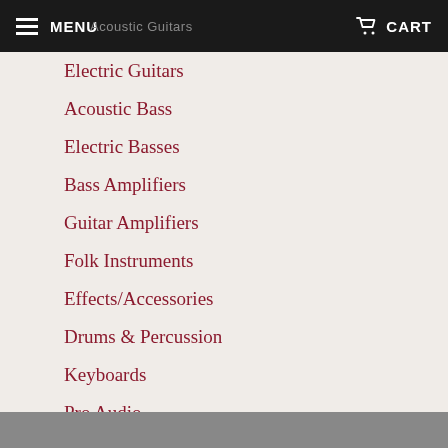MENU  Acoustic Guitars  CART
Electric Guitars
Acoustic Bass
Electric Basses
Bass Amplifiers
Guitar Amplifiers
Folk Instruments
Effects/Accessories
Drums & Percussion
Keyboards
Pro Audio
Used
Vintage
Orchestra & Band